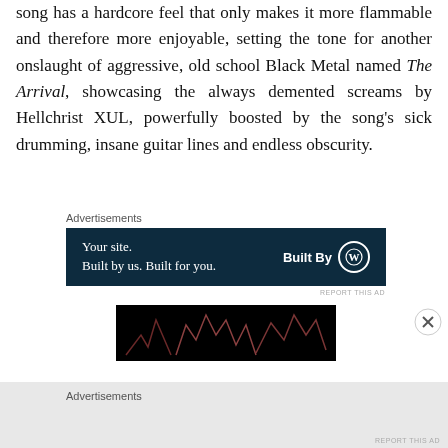song has a hardcore feel that only makes it more flammable and therefore more enjoyable, setting the tone for another onslaught of aggressive, old school Black Metal named The Arrival, showcasing the always demented screams by Hellchrist XUL, powerfully boosted by the song's sick drumming, insane guitar lines and endless obscurity.
Advertisements
[Figure (other): Dark blue advertisement banner: 'Your site. Built by us. Built for you.' with Built By WordPress logo]
REPORT THIS AD
[Figure (photo): Dark image with reddish line art figures on black background]
Advertisements
REPORT THIS AD